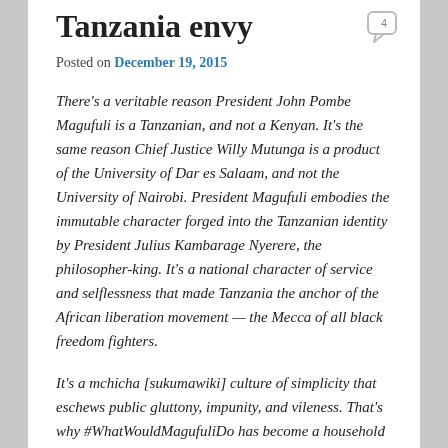Tanzania envy
Posted on December 19, 2015
There’s a veritable reason President John Pombe Magufuli is a Tanzanian, and not a Kenyan. It’s the same reason Chief Justice Willy Mutunga is a product of the University of Dar es Salaam, and not the University of Nairobi. President Magufuli embodies the immutable character forged into the Tanzanian identity by President Julius Kambarage Nyerere, the philosopher-king. It’s a national character of service and selflessness that made Tanzania the anchor of the African liberation movement — the Mecca of all black freedom fighters.
It’s a mchicha [sukumawiki] culture of simplicity that eschews public gluttony, impunity, and vileness. That’s why #WhatWouldMagufuliDo has become a household hashtag. Not since President Nyerere have we seen the likes of Mr Magufuli in Africa. There’s a famous quote,